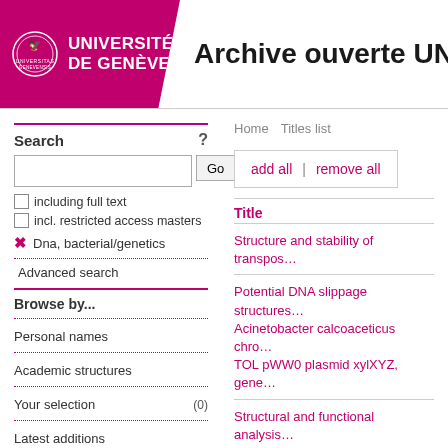[Figure (logo): Université de Genève logo with seal on magenta background]
Archive ouverte UN
Home   Titles list
Search
including full text
incl. restricted access masters
✗  Dna, bacterial/genetics
Advanced search
Browse by...
Personal names
Academic structures
Your selection (0)
Latest additions
Refine your research by the most used items
add all | remove all
Title
Structure and stability of transpos…
Potential DNA slippage structures…
Acinetobacter calcoaceticus chro…
TOL pWW0 plasmid xylXYZ, gene…
Structural and functional analysis…
enhancer activity from origin func…
origin gamma of plasmid R6K.